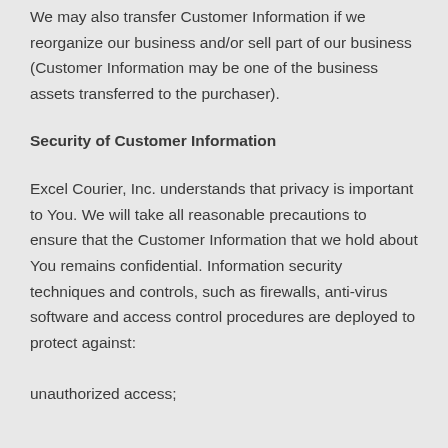We may also transfer Customer Information if we reorganize our business and/or sell part of our business (Customer Information may be one of the business assets transferred to the purchaser).
Security of Customer Information
Excel Courier, Inc. understands that privacy is important to You. We will take all reasonable precautions to ensure that the Customer Information that we hold about You remains confidential. Information security techniques and controls, such as firewalls, anti-virus software and access control procedures are deployed to protect against:
unauthorized access;